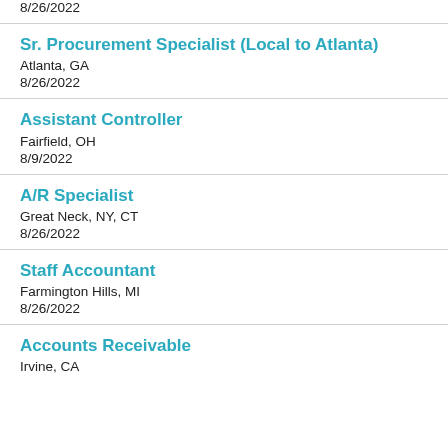8/26/2022
Sr. Procurement Specialist (Local to Atlanta)
Atlanta, GA
8/26/2022
Assistant Controller
Fairfield, OH
8/9/2022
A/R Specialist
Great Neck, NY, CT
8/26/2022
Staff Accountant
Farmington Hills, MI
8/26/2022
Accounts Receivable
Irvine, CA